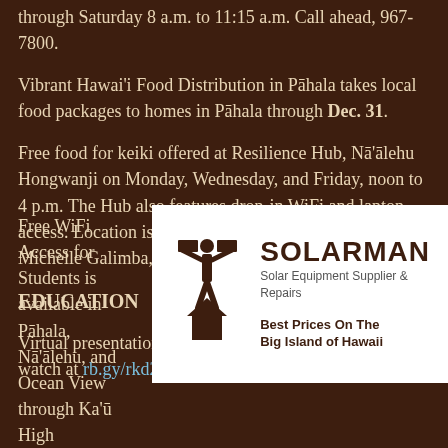through Saturday 8 a.m. to 11:15 a.m. Call ahead, 967-7800.
Vibrant Hawai'i Food Distribution in Pāhala takes local food packages to homes in Pāhala through Dec. 31.
Free food for keiki offered at Resilience Hub, Nā'ālehu Hongwanji on Monday, Wednesday, and Friday, noon to 4 p.m. The Hub also features drop-in WiFi and laptop access. Location is 95-5695 Hawai'i Belt Rd. Contact Michelle Galimba, 808-430-4927, for more.
EDUCATION
Virtual presentation, Sea Turtles in Hawai'i. Register to watch at rb.gy/rkd2fd.
Free WiFi Access for Students is available in Pāhala, Nā'ālehu, and Ocean View through Ka'ū High
[Figure (logo): Solarman advertisement. Shows a silhouette of a person holding a solar panel, with the text SOLARMAN in large bold letters, subtitle 'Solar Equipment Supplier & Repairs', and tagline 'Best Prices On The Big Island of Hawaii'.]